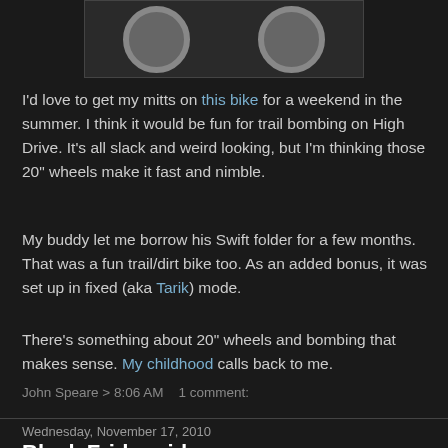[Figure (photo): Partial view of a bicycle showing two wheels at the top of the page]
I'd love to get my mitts on this bike for a weekend in the summer. I think it would be fun for trail bombing on High Drive. It's all slack and weird looking, but I'm thinking those 20" wheels make it fast and nimble.
My buddy let me borrow his Swift folder for a few months. That was a fun trail/dirt bike too. As an added bonus, it was set up in fixed (aka Tarik) mode.
There's something about 20" wheels and bombing that makes sense. My childhood calls back to me.
John Speare > 8:06 AM    1 comment:
Wednesday, November 17, 2010
Black Friday ride